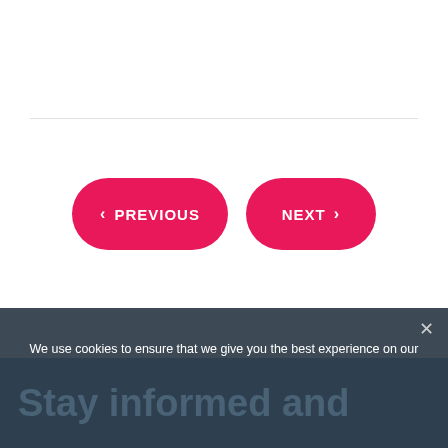[Figure (screenshot): Navigation buttons: PREVIOUS (left chevron) and NEXT (right chevron), both styled as pink rounded pill buttons on a white background with horizontal divider lines above and below.]
We use cookies to ensure that we give you the best experience on our website. If you continue to use this site we will assume that you are happy with it.
Ok
Stay informed and